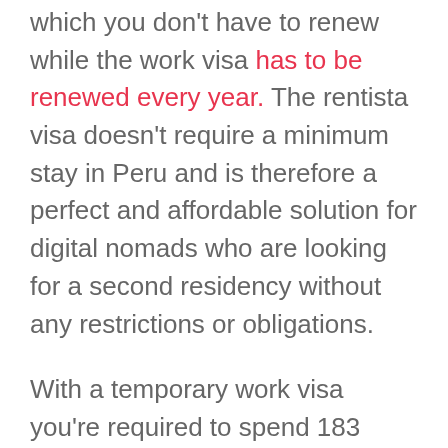which you don't have to renew while the work visa has to be renewed every year. The rentista visa doesn't require a minimum stay in Peru and is therefore a perfect and affordable solution for digital nomads who are looking for a second residency without any restrictions or obligations.
With a temporary work visa you're required to spend 183 days/year in Peru. It's possible to change from temporary to permanent after three years but this possibility goes along with stricter requirements as far as minimum wage and tax obligations are concerned. With a permanent work visa, you just have to return to Peru once a